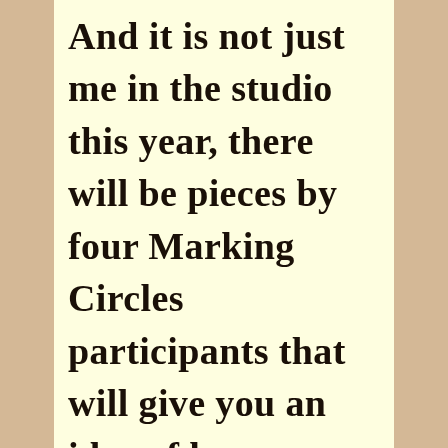And it is not just me in the studio this year, there will be pieces by four Marking Circles participants that will give you an idea of how we work in